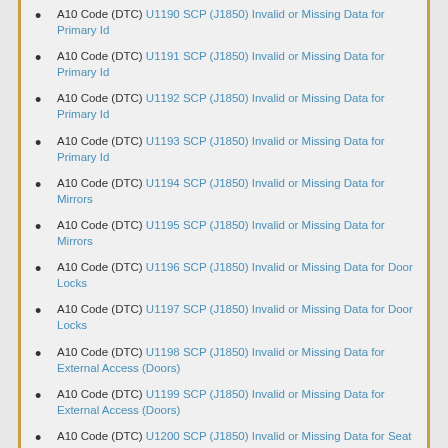A10 Code (DTC) U1190 SCP (J1850) Invalid or Missing Data for Primary Id
A10 Code (DTC) U1191 SCP (J1850) Invalid or Missing Data for Primary Id
A10 Code (DTC) U1192 SCP (J1850) Invalid or Missing Data for Primary Id
A10 Code (DTC) U1193 SCP (J1850) Invalid or Missing Data for Primary Id
A10 Code (DTC) U1194 SCP (J1850) Invalid or Missing Data for Mirrors
A10 Code (DTC) U1195 SCP (J1850) Invalid or Missing Data for Mirrors
A10 Code (DTC) U1196 SCP (J1850) Invalid or Missing Data for Door Locks
A10 Code (DTC) U1197 SCP (J1850) Invalid or Missing Data for Door Locks
A10 Code (DTC) U1198 SCP (J1850) Invalid or Missing Data for External Access (Doors)
A10 Code (DTC) U1199 SCP (J1850) Invalid or Missing Data for External Access (Doors)
A10 Code (DTC) U1200 SCP (J1850) Invalid or Missing Data for Seat Motion / Control